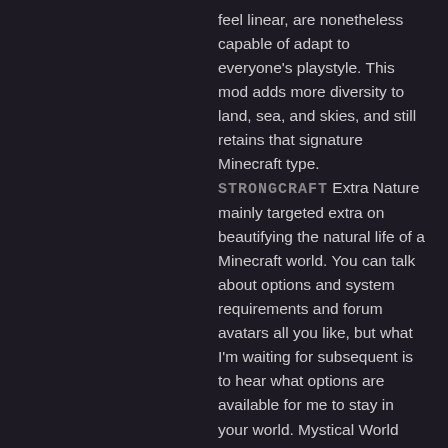feel linear, are nonetheless capable of adapt to everyone's playstyle. This mod adds more diversity to land, sea, and skies, and still retains that signature Minecraft type. STRONGCRAFT Extra Nature mainly targeted extra on beautifying the natural life of a Minecraft world. You can talk about options and system requirements and forum avatars all you like, but what I'm waiting for subsequent is to hear what options are available for me to stay in your world. Mystical World solely provides ten mobs, equivalent to deer, enderminis, frogs, and silver foxes, and makes modifications to the squid present in vanilla Minecraft, so this is without doubt one of the smaller mob-focused mods. The mod adds abandoned ruins, new mobs, and more crafting potential. Animania Farm is one in all three